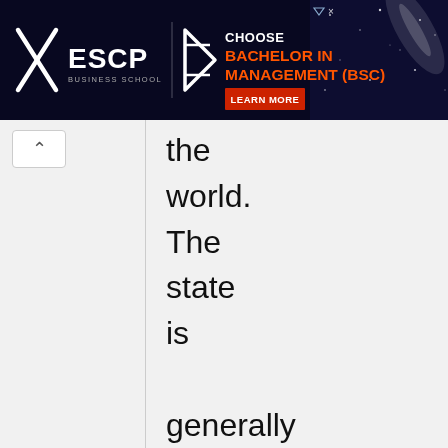[Figure (other): ESCP Business School advertisement banner: dark navy background with ESCP logo on left, arrow/star logo in center, text reading CHOOSE BACHELOR IN MANAGEMENT (BSC) in orange/white, LEARN MORE button in red, starry image on right.]
the world. The state is generally liberal-leaning, technologically and culturally savvy, and